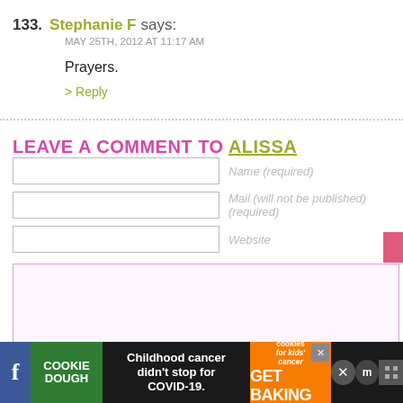133. Stephanie F says:
MAY 25TH, 2012 AT 11:17 AM
Prayers.
> Reply
LEAVE A COMMENT TO ALISSA
Name (required)
Mail (will not be published) (required)
Website
COOKIE DOUGH | Childhood cancer didn't stop for COVID-19. | cookies for kids' cancer GET BAKING